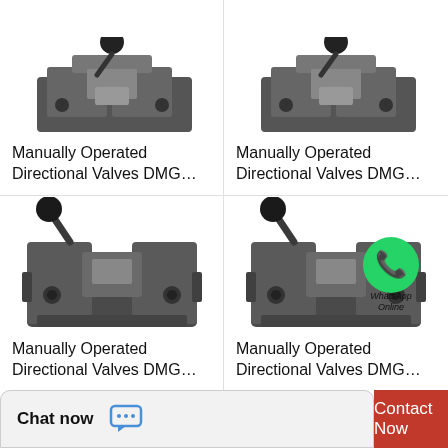[Figure (photo): Manually Operated Directional Valve DMG product photo (top-left, partial, cropped at top)]
Manually Operated Directional Valves DMG…
[Figure (photo): Manually Operated Directional Valve DMG product photo (top-right, partial, cropped at top)]
Manually Operated Directional Valves DMG…
[Figure (photo): Manually Operated Directional Valve DMG product photo (bottom-left, full view with lever handle)]
Manually Operated Directional Valves DMG…
[Figure (photo): Manually Operated Directional Valve DMG product photo (bottom-right, full view with lever handle and WhatsApp Online overlay)]
Manually Operated Directional Valves DMG…
Chat now  Contact Now